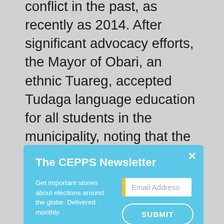conflict in the past, as recently as 2014. After significant advocacy efforts, the Mayor of Obari, an ethnic Tuareg, accepted Tudaga language education for all students in the municipality, noting that the project could be a bridge between the communities, and a
[Figure (screenshot): A newsletter signup modal popup with a light blue background. Title: 'The CEPPS Newsletter'. Description text: 'Get important stories about elections around the globe. Delivered monthly.' An email address input field with a yellow accent bar on the left and a SUBMIT button below. A close (x) button in the top right corner.]
Tuareg and Arab citizens. Amina Sidi, a teacher in Sabha, remarked that public feedback toward the project has been positive. “Sabha is an ethnically mixed city, and somewhat segregated; Tebu and Tuareg